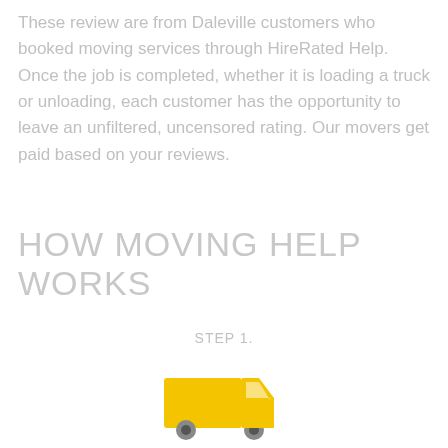These review are from Daleville customers who booked moving services through HireRated Help. Once the job is completed, whether it is loading a truck or unloading, each customer has the opportunity to leave an unfiltered, uncensored rating. Our movers get paid based on your reviews.
HOW MOVING HELP WORKS
STEP 1.
[Figure (illustration): A yellow moving truck icon]